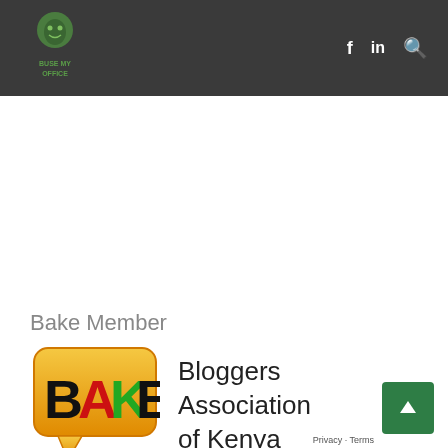BUSE MY OFFICE — navigation header with logo and social icons (f, in, search)
Bake Member
[Figure (logo): BAKE logo — speech bubble shape with orange/yellow gradient background, letters B A K E where A is red, K is green, rest black, and a chat bubble tail at bottom]
Bloggers Association of Kenya